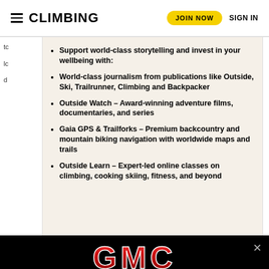CLIMBING | JOIN NOW | SIGN IN
Support world-class storytelling and invest in your wellbeing with:
World-class journalism from publications like Outside, Ski, Trailrunner, Climbing and Backpacker
Outside Watch – Award-winning adventure films, documentaries, and series
Gaia GPS & Trailforks – Premium backcountry and mountain biking navigation with worldwide maps and trails
Outside Learn – Expert-led online classes on climbing, cooking skiing, fitness, and beyond
[Figure (logo): GMC logo advertisement banner on black background]